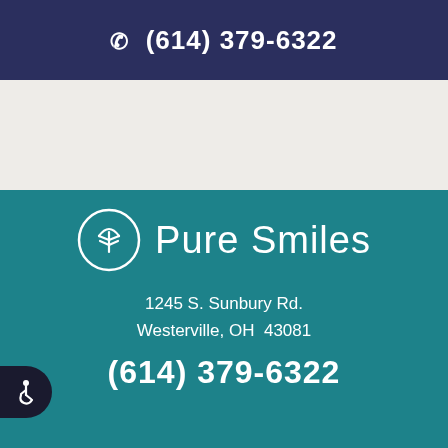☎ (614) 379-6322
[Figure (logo): Pure Smiles dental office logo with circular tree/tooth icon and text 'Pure Smiles']
1245 S. Sunbury Rd.
Westerville, OH  43081
(614) 379-6322
HOURS